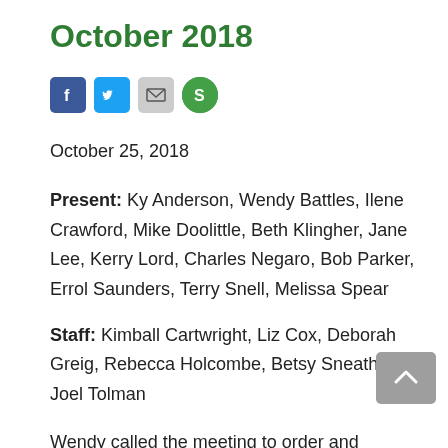October 2018
[Figure (other): Social sharing icons: Facebook, Twitter, Email, Share (green circle with 'S')]
October 25, 2018
Present: Ky Anderson, Wendy Battles, Ilene Crawford, Mike Doolittle, Beth Klingher, Jane Lee, Kerry Lord, Charles Negaro, Bob Parker, Errol Saunders, Terry Snell, Melissa Spear
Staff: Kimball Cartwright, Liz Cox, Deborah Greig, Rebecca Holcombe, Betsy Sneath, Joel Tolman
Wendy called the meeting to order and